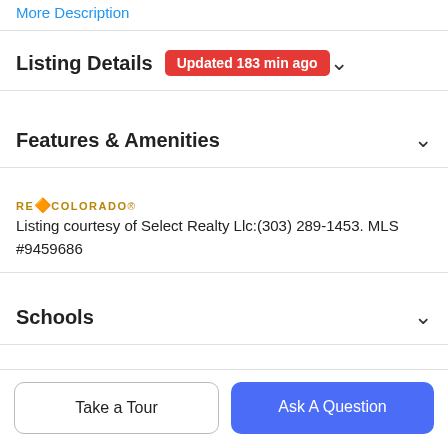More Description
Listing Details  Updated 183 min ago
Features & Amenities
[Figure (logo): REColorado logo]
Listing courtesy of Select Realty Llc:(303) 289-1453. MLS #9459686
Schools
Payment Calculator
Take a Tour
Ask A Question